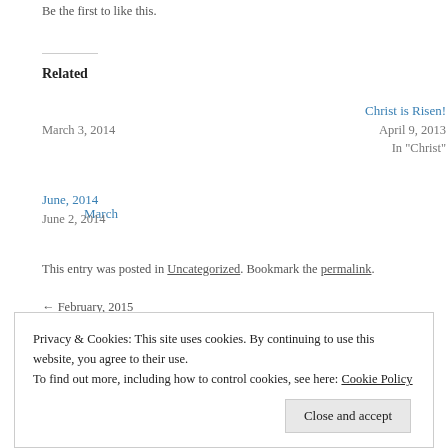Be the first to like this.
Related
March
March 3, 2014
Christ is Risen!
April 9, 2013
In "Christ"
June, 2014
June 2, 2014
This entry was posted in Uncategorized. Bookmark the permalink.
← February, 2015
Privacy & Cookies: This site uses cookies. By continuing to use this website, you agree to their use.
To find out more, including how to control cookies, see here: Cookie Policy
Close and accept